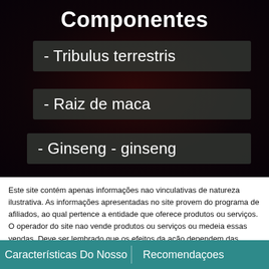Componentes
- Tribulus terrestris
- Raiz de maca
- Ginseng - ginseng
Este site contém apenas informações nao vinculativas de natureza ilustrativa. As informações apresentadas no site provem do programa de afiliados, ao qual pertence a entidade que oferece produtos ou serviços. O operador do site nao vende produtos ou serviços ou medeia essas vendas. Deve ser lembrado que os efeitos da ação dependem das predisposiçoes individuais e da regularidade do uso da preparação.
Características Do Nosso   Recomendaçoes